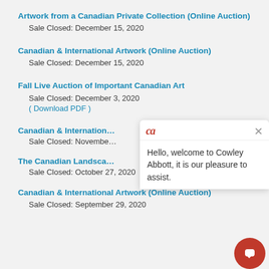Artwork from a Canadian Private Collection (Online Auction)
Sale Closed: December 15, 2020
Canadian & International Artwork (Online Auction)
Sale Closed: December 15, 2020
Fall Live Auction of Important Canadian Art
Sale Closed: December 3, 2020
( Download PDF )
Canadian & International Artwork [partially hidden by popup]
Sale Closed: November [partially hidden]
The Canadian Landscape [partially hidden]
Sale Closed: October 27, 2020
Canadian & International Artwork (Online Auction)
Sale Closed: September 29, 2020
Hello, welcome to Cowley Abbott, it is our pleasure to assist.